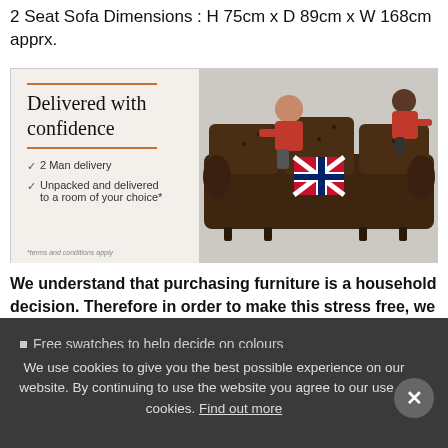2 Seat Sofa Dimensions : H 75cm x D 89cm x W 168cm apprx.
[Figure (photo): Promotional banner showing a dark brown tufted Chesterfield sofa with a Union Jack pillow, being positioned by two delivery men in red shirts. Left panel shows text 'Delivered with confidence' with checkmarks listing '2 Man delivery' and 'Unpacked and delivered to a room of your choice*'. Orange decorative lines above and below the heading.]
We understand that purchasing furniture is a household decision. Therefore in order to make this stress free, we offer all our customers:
Free swatches to help decide on colours
We use cookies to give you the best possible experience on our website. By continuing to use the website you agree to our use of cookies. Find out more
Free impartial advice on the suitability of products